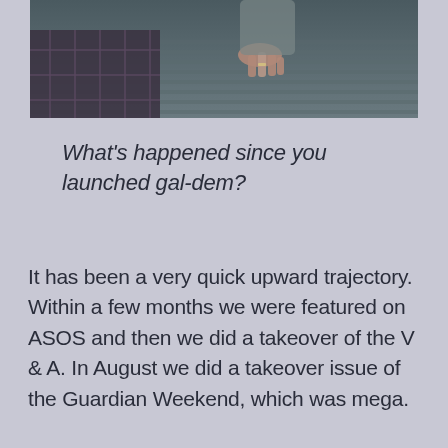[Figure (photo): Partial photo showing a person's lower body in plaid/checkered clothing and hands reaching down, against a slatted background with blue-grey tones.]
What's happened since you launched gal-dem?
It has been a very quick upward trajectory. Within a few months we were featured on ASOS and then we did a takeover of the V & A. In August we did a takeover issue of the Guardian Weekend, which was mega.